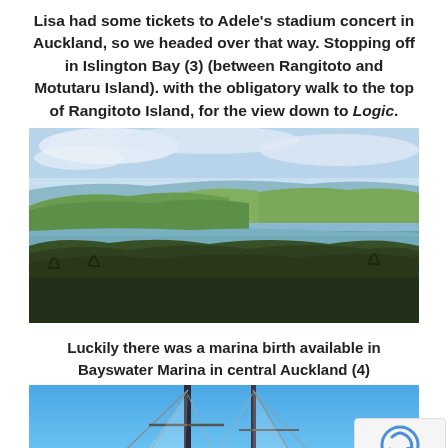Lisa had some tickets to Adele's stadium concert in Auckland, so we headed over that way. Stopping off in Islington Bay (3) (between Rangitoto and Motutaru Island). with the obligatory walk to the top of Rangitoto Island, for the view down to Logic.
[Figure (photo): Aerial/elevated landscape view showing green rolling hills, a bay or inlet with calm water, and distant land masses under a partly cloudy sky — the view from the top of Rangitoto Island looking down toward a sailboat (Logic) and Islington Bay area.]
Luckily there was a marina birth available in Bayswater Marina in central Auckland (4)
[Figure (photo): Photo looking up at sailboat masts against a bright blue sky, taken from deck level at Bayswater Marina.]